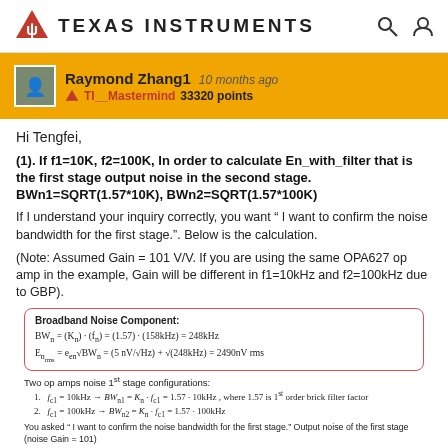Texas Instruments
Raymond Zhang1   10 months ago   TI__Mastermind 33320 points
Hi Tengfei,
(1). If f1=10K, f2=100K, In order to calculate En_with_filter that is the first stage output noise in the second stage. BWn1=SQRT(1.57*10K), BWn2=SQRT(1.57*100K)
If I understand your inquiry correctly, you want " I want to confirm the noise bandwidth for the first stage.". Below is the calculation.
(Note: Assumed Gain = 101 V/V. If you are using the same OPA627 op amp in the example, Gain will be different in f1=10kHz and f2=100kHz due to GBP).
Two op amps noise 1st stage configurations:
f_c1 = 10kHz → BW_n1 = K_n · f_c1 = 1.57 · 10kHz, where 1.57 is 1st order brick filter factor
f_c1 = 100kHz → BW_n2 = K_n · f_c1 = 1.57 · 100kHz
You asked " I want to confirm the noise bandwidth for the first stage." Output noise of the first stage (noise Gain = 101)